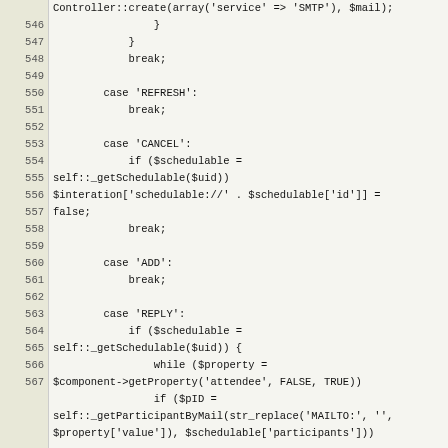Source code listing, lines 546-567, PHP code
| Line | Code |
| --- | --- |
|  | Controller::create(array('service' => 'SMTP'), $mail); |
| 546 |                 } |
| 547 |             } |
| 548 |             break; |
| 549 |  |
| 550 |         case 'REFRESH': |
| 551 |             break; |
| 552 |  |
| 553 |         case 'CANCEL': |
| 554 |             if ($schedulable = self::_getSchedulable($uid)) |
| 555 | $interation['schedulable://' . $schedulable['id']] = false; |
| 556 |             break; |
| 557 |  |
| 558 |         case 'ADD': |
| 559 |             break; |
| 560 |  |
| 561 |         case 'REPLY': |
| 562 |             if ($schedulable = self::_getSchedulable($uid)) { |
| 563 |                 while ($property = $component->getProperty('attendee', FALSE, TRUE)) |
| 564 |                 if ($pID = self::_getParticipantByMail(str_replace('MAILTO:', '', $property['value']), $schedulable['participants'])) |
| 565 | $interation['participant://' . $pID] = array('id' => $pID, 'status' => constant('STATUS_' . strtoupper($property['params']['PARTSTAT']))); |
| 566 |  |
| 567 | $interation['schedulable://' . $schedulable['id']] |